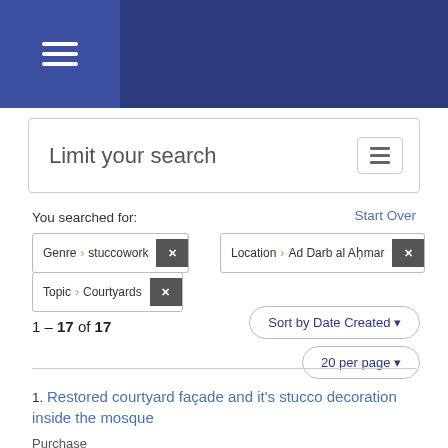ARCE — American Research Center in Egypt
Limit your search
You searched for:
Start Over
Genre › stuccowork ✕
Location › Ad Darb al Aḥmar ✕
Topic › Courtyards ✕
1 – 17 of 17
Sort by Date Created ▼
20 per page ▼
1. Restored courtyard façade and it's stucco decoration inside the mosque
Purchase